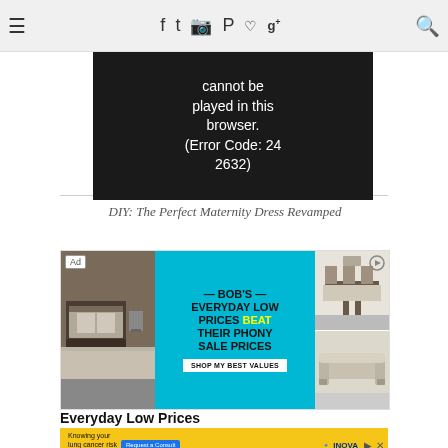Navigation bar with hamburger menu, social icons (f, t, instagram, pinterest, blogger, heart, g+), and search icon
[Figure (screenshot): Video player error message on dark background reading: 'The video cannot be played in this browser. (Error Code: 24 2632)']
DIY: The Perfect Maternity Dress Revamped
[Figure (photo): Bob's Furniture advertisement: bedroom photo on left, cyan center panel reading 'BOB'S EVERYDAY LOW PRICES BEAT THEIR PHONY SALE PRICES' with 'SHOP MY BEST VALUES' button, dining room and sofa photos on right]
Everyday Low Prices
[Figure (photo): Inova lung cancer risk advertisement banner with 'Request a Consult' button]